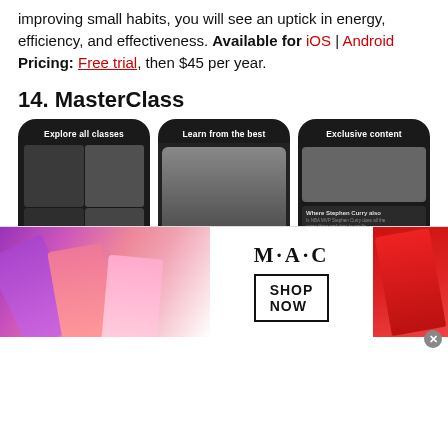improving small habits, you will see an uptick in energy, efficiency, and effectiveness. Available for iOS | Android Pricing: Free trial, then $45 per year.
14. MasterClass
[Figure (screenshot): Three mobile phone screenshots of the MasterClass app showing 'Explore all classes', 'Learn from the best', and 'Exclusive content' screens with celebrity instructors and cooking content.]
[Figure (photo): MAC cosmetics advertisement banner showing lipsticks, MAC logo, and 'SHOP NOW' button.]